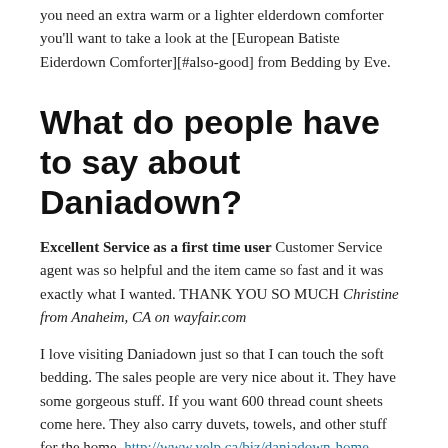you need an extra warm or a lighter elderdown comforter you'll want to take a look at the [European Batiste Eiderdown Comforter][#also-good] from Bedding by Eve.
What do people have to say about Daniadown?
Excellent Service as a first time user Customer Service agent was so helpful and the item came so fast and it was exactly what I wanted. THANK YOU SO MUCH Christine from Anaheim, CA on wayfair.com
I love visiting Daniadown just so that I can touch the soft bedding. The sales people are very nice about it. They have some gorgeous stuff. If you want 600 thread count sheets come here. They also carry duvets, towels, and other stuff for the home. http://www.yelp.ca/biz/daniadown-home-